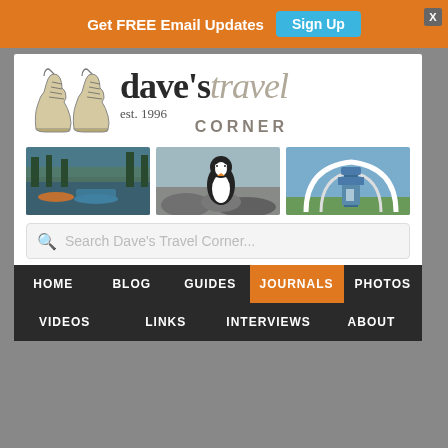Get FREE Email Updates  Sign Up
[Figure (logo): Dave's Travel Corner logo with hiking boots illustration, text 'dave's travel corner est. 1996']
[Figure (photo): Three travel photos: boats on water with trees, a penguin on rocks, and a modern architectural structure with white arches]
Search Dave's Travel Corner...
HOME  BLOG  GUIDES  JOURNALS  PHOTOS  VIDEOS  LINKS  INTERVIEWS  ABOUT